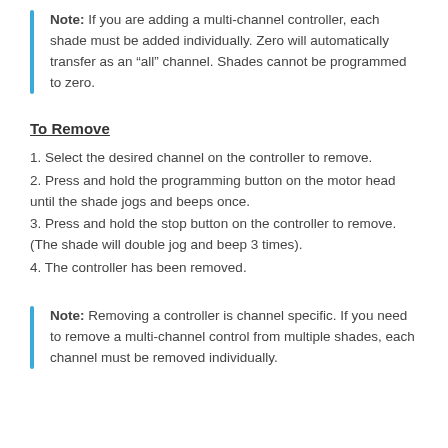Note: If you are adding a multi-channel controller, each shade must be added individually. Zero will automatically transfer as an “all” channel. Shades cannot be programmed to zero.
To Remove
1. Select the desired channel on the controller to remove.
2. Press and hold the programming button on the motor head until the shade jogs and beeps once.
3. Press and hold the stop button on the controller to remove. (The shade will double jog and beep 3 times).
4. The controller has been removed.
Note: Removing a controller is channel specific. If you need to remove a multi-channel control from multiple shades, each channel must be removed individually.